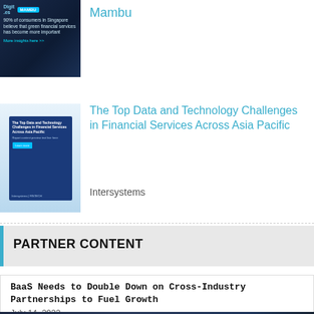[Figure (illustration): Dark blue promotional banner image with logos and text about green financial services]
Mambu
[Figure (illustration): Blue report cover image - The Top Data and Technology Challenges in Financial Services Across Asia Pacific]
The Top Data and Technology Challenges in Financial Services Across Asia Pacific
Intersystems
PARTNER CONTENT
BaaS Needs to Double Down on Cross-Industry Partnerships to Fuel Growth
July 14, 2022
[Figure (photo): Dark background photo with compass/navigation circle graphic overlay]